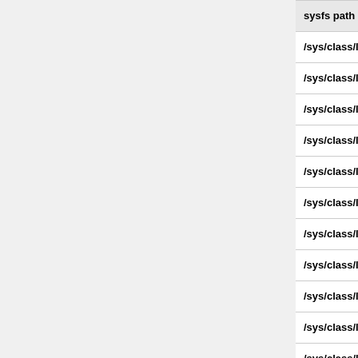| sysfs path | Pin | g... |
| --- | --- | --- |
| /sys/class/leds/led_P8_30 | P8_30 | g |
| /sys/class/leds/led_P8_31 | P8_31 | g |
| /sys/class/leds/led_P8_32 | P8_32 | g |
| /sys/class/leds/led_P8_33 | P8_33 | g |
| /sys/class/leds/led_P8_34 | P8_34 | g |
| /sys/class/leds/led_P8_35 | P8_35 | g |
| /sys/class/leds/led_P8_36 | P8_36 | g |
| /sys/class/leds/led_P8_37 | P8_37 | g |
| /sys/class/leds/led_P8_38 | P8_38 | g |
| /sys/class/leds/led_P8_39 | P8_39 | g |
| /sys/class/leds/led_P8_40 | P8_40 | g |
| /sys/class/leds/led_P8_41 | P8_41 | g |
| /sys/class/leds/led_P8_42 | P8_42 | g |
| /sys/class/leds/led_P8_43 | P8_43 | g |
| /sys/class/leds/led_P8_44 | P8_44 | g |